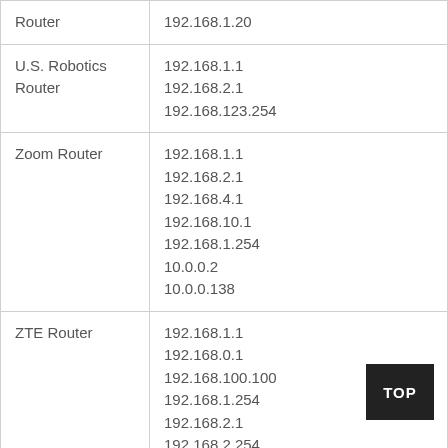| Router | 192.168.1.20 |
| U.S. Robotics Router | 192.168.1.1
192.168.2.1
192.168.123.254 |
| Zoom Router | 192.168.1.1
192.168.2.1
192.168.4.1
192.168.10.1
192.168.1.254
10.0.0.2
10.0.0.138 |
| ZTE Router | 192.168.1.1
192.168.0.1
192.168.100.100
192.168.1.254
192.168.2.1
192.168.2.254 |